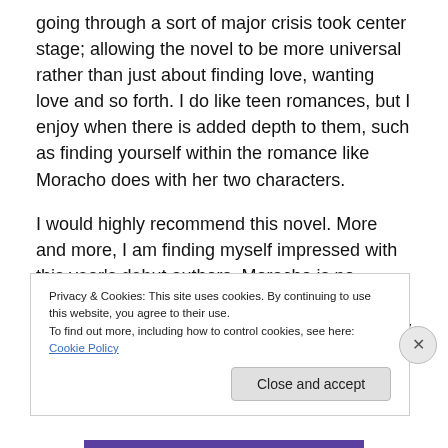going through a sort of major crisis took center stage; allowing the novel to be more universal rather than just about finding love, wanting love and so forth. I do like teen romances, but I enjoy when there is added depth to them, such as finding yourself within the romance like Moracho does with her two characters.
I would highly recommend this novel. More and more, I am finding myself impressed with this year's debut authors. Moracho is no different. This reads like a second novel, not a first. It is excellent. Not a novel to be missed by any
Privacy & Cookies: This site uses cookies. By continuing to use this website, you agree to their use.
To find out more, including how to control cookies, see here: Cookie Policy